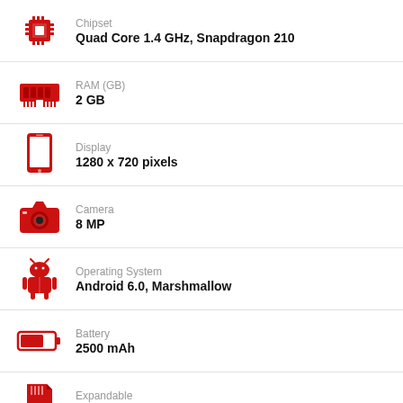Chipset: Quad Core 1.4 GHz, Snapdragon 210
RAM (GB): 2 GB
Display: 1280 x 720 pixels
Camera: 8 MP
Operating System: Android 6.0, Marshmallow
Battery: 2500 mAh
Expandable: 64 GB, micro SD card
The TCL 560 comes with a 55 inch HD IPS (1280×720 pixels) resolution. The phone is powered by a quad core processor and 2 GB RAM
TCL 560 Specs